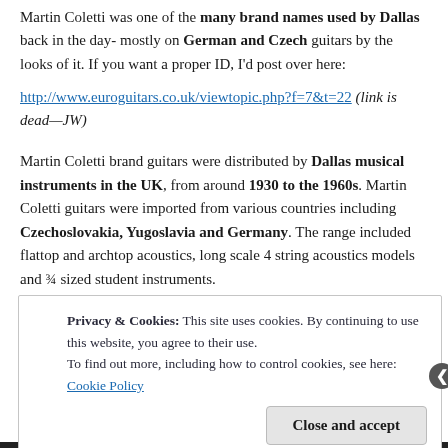Martin Coletti was one of the many brand names used by Dallas back in the day- mostly on German and Czech guitars by the looks of it. If you want a proper ID, I'd post over here:
http://www.euroguitars.co.uk/viewtopic.php?f=7&t=22 (link is dead—JW)
Martin Coletti brand guitars were distributed by Dallas musical instruments in the UK, from around 1930 to the 1960s. Martin Coletti guitars were imported from various countries including Czechoslovakia, Yugoslavia and Germany. The range included flattop and archtop acoustics, long scale 4 string acoustics models and ¾ sized student instruments.
Privacy & Cookies: This site uses cookies. By continuing to use this website, you agree to their use.
To find out more, including how to control cookies, see here: Cookie Policy